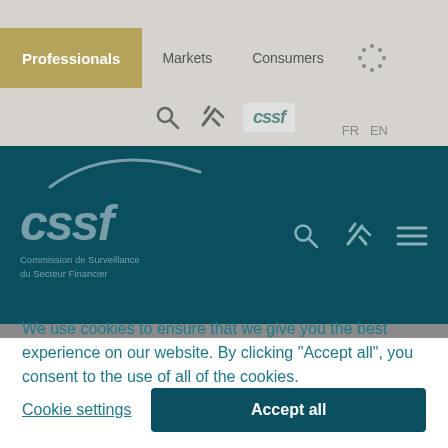[Figure (screenshot): CSSF website navigation screenshot showing top navigation bar with Professionals (highlighted in tan/gold), Markets, Consumers menu items, and EU dots icon; tools row with search, settings icons and CSSF logo; main dark teal banner with large CSSF logo, tagline 'Commission de Surveillance du Secteur Financier', and search/tools/menu icons; gray divider bar; and cookie consent dialog]
We use cookies to ensure that we give you the best experience on our website. By clicking "Accept all", you consent to the use of all of the cookies.
Cookie settings
Accept all